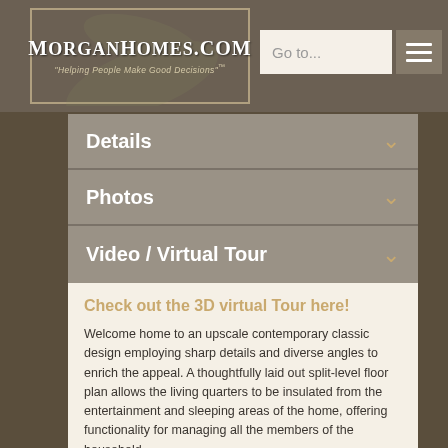MorganHomes.com — Helping People Make Good Decisions™
Details
Photos
Video / Virtual Tour
Check out the 3D virtual Tour here!
Welcome home to an upscale contemporary classic design employing sharp details and diverse angles to enrich the appeal. A thoughtfully laid out split-level floor plan allows the living quarters to be insulated from the entertainment and sleeping areas of the home, offering functionality for managing all the members of the household.
Inside, rich oak hardwood flooring and